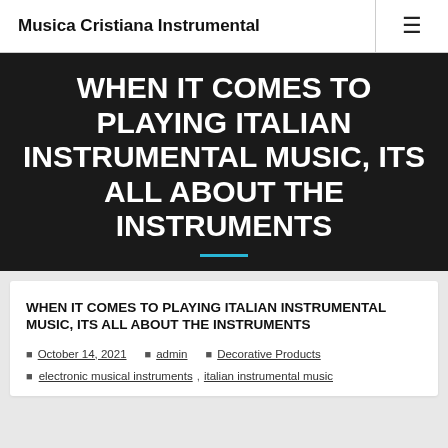Musica Cristiana Instrumental
WHEN IT COMES TO PLAYING ITALIAN INSTRUMENTAL MUSIC, ITS ALL ABOUT THE INSTRUMENTS
WHEN IT COMES TO PLAYING ITALIAN INSTRUMENTAL MUSIC, ITS ALL ABOUT THE INSTRUMENTS
October 14, 2021  admin  Decorative Products
electronic musical instruments, italian instrumental music